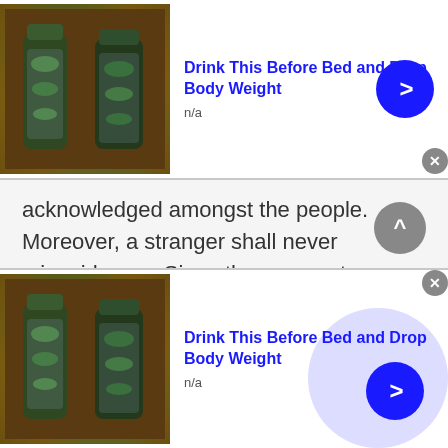[Figure (screenshot): Top advertisement banner: image of cucumber water bottles, title 'Drink This Before Bed and Drop Body Weight', subtitle 'n/a', blue arrow button and close X button]
acknowledged amongst the people. Moreover, a stranger shall never misguide you. Since they are a stranger to you and you both are trying to grow your social circle. By this simple mere act, you can easily make them feel that they are important to you. alongside, they will use their full capabilities and expertise to give you the best advice.

Furthermore, if you are willing to grow your social circle and chat with people of United States Minor
[Figure (screenshot): Bottom advertisement banner: image of cucumber water bottles, title 'Drink This Before Bed and Drop Body Weight', subtitle 'n/a', blue arrow button, close X button, purple glow overlay]